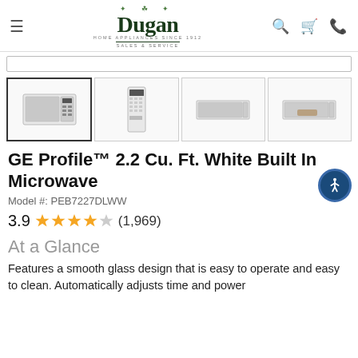Dugan Home Appliances Since 1912 - Sales & Service
[Figure (screenshot): Four product thumbnail images of GE Profile microwave: front view (selected), remote/keypad, side open view, and side open with food view]
GE Profile™ 2.2 Cu. Ft. White Built In Microwave
Model #: PEB7227DLWW
3.9 ★★★★☆ (1,969)
At a Glance
Features a smooth glass design that is easy to operate and easy to clean. Automatically adjusts time and power